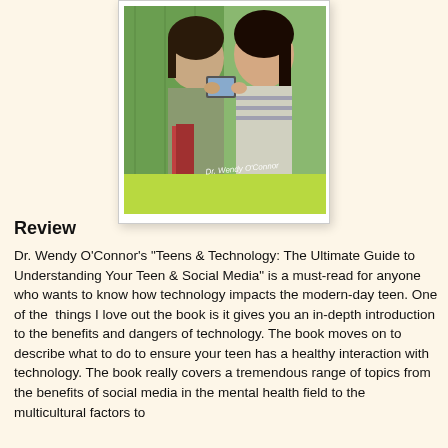[Figure (photo): Book cover of 'Teens & Technology' by Dr. Wendy O'Connor, showing two teenage girls smiling and looking at a smartphone, with a green background. Author name 'Dr. Wendy O'Connor' appears in italic text on the cover.]
Review
Dr. Wendy O'Connor's "Teens & Technology: The Ultimate Guide to Understanding Your Teen & Social Media" is a must-read for anyone who wants to know how technology impacts the modern-day teen. One of the  things I love out the book is it gives you an in-depth introduction to the benefits and dangers of technology. The book moves on to describe what to do to ensure your teen has a healthy interaction with technology. The book really covers a tremendous range of topics from the benefits of social media in the mental health field to the multicultural factors to